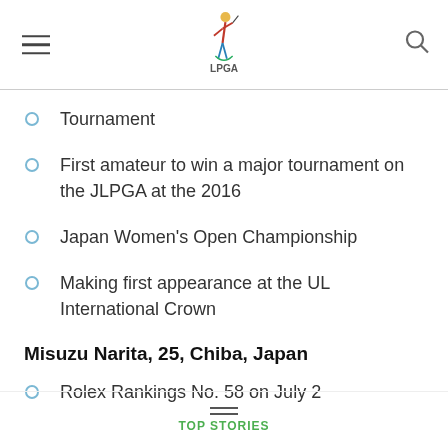LPGA
Tournament
First amateur to win a major tournament on the JLPGA at the 2016
Japan Women's Open Championship
Making first appearance at the UL International Crown
Misuzu Narita, 25, Chiba, Japan
Rolex Rankings No. 58 on July 2
TOP STORIES